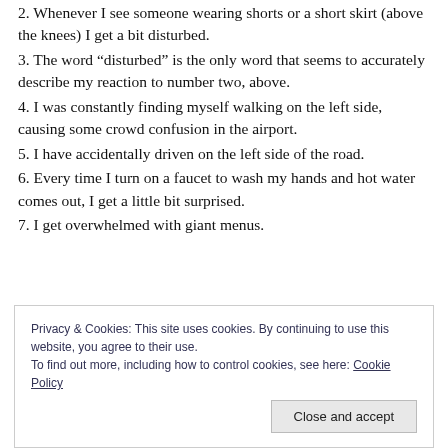2. Whenever I see someone wearing shorts or a short skirt (above the knees) I get a bit disturbed.
3. The word “disturbed” is the only word that seems to accurately describe my reaction to number two, above.
4. I was constantly finding myself walking on the left side, causing some crowd confusion in the airport.
5. I have accidentally driven on the left side of the road.
6. Every time I turn on a faucet to wash my hands and hot water comes out, I get a little bit surprised.
7. I get overwhelmed with giant menus.
Privacy & Cookies: This site uses cookies. By continuing to use this website, you agree to their use.
To find out more, including how to control cookies, see here: Cookie Policy